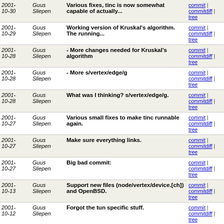| Date | Author | Message | Links |
| --- | --- | --- | --- |
| 2001-10-30 | Guus Sliepen | Various fixes, tinc is now somewhat capable of actually... | commit | commitdiff | tree |
| 2001-10-29 | Guus Sliepen | Working version of Kruskal's algorithm. The running... | commit | commitdiff | tree |
| 2001-10-28 | Guus Sliepen | - More changes needed for Kruskal's algorithm | commit | commitdiff | tree |
| 2001-10-28 | Guus Sliepen | - More s/vertex/edge/g | commit | commitdiff | tree |
| 2001-10-28 | Guus Sliepen | What was I thinking? s/vertex/edge/g. | commit | commitdiff | tree |
| 2001-10-27 | Guus Sliepen | Various small fixes to make tinc runnable again. | commit | commitdiff | tree |
| 2001-10-27 | Guus Sliepen | Make sure everything links. | commit | commitdiff | tree |
| 2001-10-27 | Guus Sliepen | Big bad commit: | commit | commitdiff | tree |
| 2001-10-13 | Guus Sliepen | Support new files (node/vertex/device.[ch]) and OpenBSD. | commit | commitdiff | tree |
| 2001-10-12 | Guus Sliepen | Forgot the tun specific stuff. | commit | commitdiff | tree |
| 2001-10-12 | Guus Sliepen | Added OpenBSD tun device handling. Untested though. | commit | commitdiff | tree |
| 2001-10-12 | Guus Sliepen | Forgot to remove some old #ifdef stuff. | commit | commitdiff | tree |
| 2001-10-12 | Guus Sliepen | Solaris tun device handling cleaned up a bit and added... | commit | commitdiff |